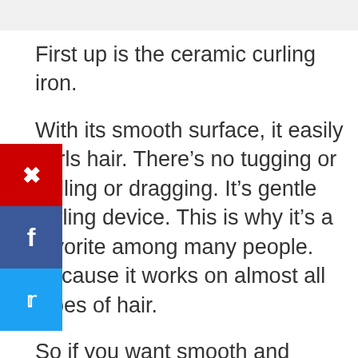First up is the ceramic curling iron.
With its smooth surface, it easily curls hair. There’s no tugging or pulling or dragging. It’s gentle styling device. This is why it’s a favorite among many people. Because it works on almost all types of hair.
So if you want smooth and seamless tresses, you’ll love a ceramic curling iron. With its evenly distributed heat and negative ion technology, you’ll enjoy frizz-